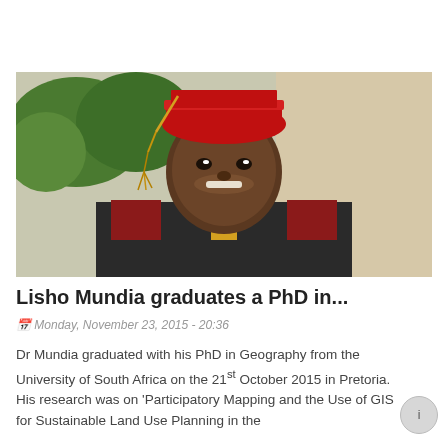Read more ❯
[Figure (photo): Portrait photo of Dr. Lisho Mundia wearing a red doctoral graduation cap and gown, smiling, with green trees and a wall visible in the background.]
Lisho Mundia graduates a PhD in...
Monday, November 23, 2015 - 20:36
Dr Mundia graduated with his PhD in Geography from the University of South Africa on the 21st October 2015 in Pretoria. His research was on 'Participatory Mapping and the Use of GIS for Sustainable Land Use Planning in the